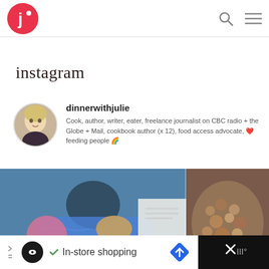[Figure (logo): Round red circle with white letter J and a dot, site logo top-left]
[Figure (other): Search magnifying glass icon and hamburger menu icon, top-right navigation]
instagram
[Figure (photo): Circular avatar photo of a blonde woman holding a phone, profile picture for dinnerwithjulie]
dinnerwithjulie
Cook, author, writer, eater, freelance journalist on CBC radio + the Globe + Mail, cookbook author (x 12), food access advocate, ❤ feeding people 🌈
[Figure (photo): Instagram photo grid showing a person in blue fuzzy sweater holding food, a book/notebook on a table, and baked goods on the right side; an up-arrow button is overlaid at top right]
[Figure (screenshot): Advertisement bar at bottom: black circle logo with infinity symbol, checkmark, 'In-store shopping' text, blue diamond navigation icon, and dark close panel with X icon on right]